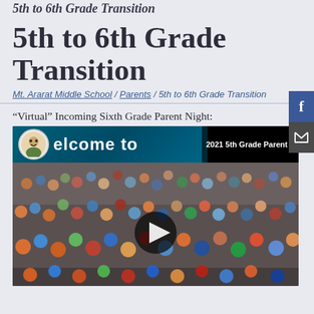5th to 6th Grade Transition
5th to 6th Grade Transition
Mt. Ararat Middle School / Parents / 5th to 6th Grade Transition
“Virtual” Incoming Sixth Grade Parent Night:
[Figure (screenshot): YouTube video thumbnail showing '2021 5th Grade Parent Information Night Video' with a welcome banner, avatar icon, and crowd photo of students in a gymnasium with a play button overlay.]